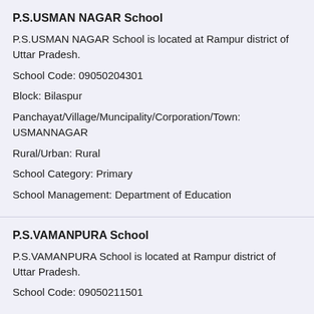P.S.USMAN NAGAR School
P.S.USMAN NAGAR School is located at Rampur district of Uttar Pradesh.
School Code: 09050204301
Block: Bilaspur
Panchayat/Village/Muncipality/Corporation/Town: USMANNAGAR
Rural/Urban: Rural
School Category: Primary
School Management: Department of Education
P.S.VAMANPURA School
P.S.VAMANPURA School is located at Rampur district of Uttar Pradesh.
School Code: 09050211501